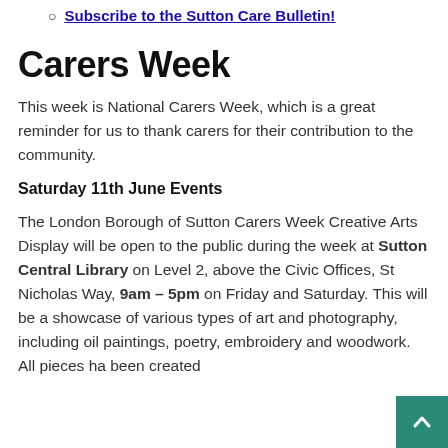Subscribe to the Sutton Care Bulletin!
Carers Week
This week is National Carers Week, which is a great reminder for us to thank carers for their contribution to the community.
Saturday 11th June Events
The London Borough of Sutton Carers Week Creative Arts Display will be open to the public during the week at Sutton Central Library on Level 2, above the Civic Offices, St Nicholas Way, 9am – 5pm on Friday and Saturday. This will be a showcase of various types of art and photography, including oil paintings, poetry, embroidery and woodwork. All pieces ha been created